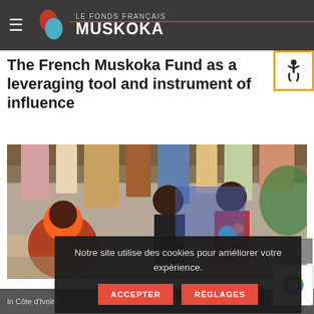LE FONDS FRANÇAIS MUSKOKA
The French Muskoka Fund as a leveraging tool and instrument of influence
[Figure (photo): People in a market scene in Côte d'Ivoire, with colourful fabrics hanging in the background and people standing under a covered stall]
Notre site utilise des cookies pour améliorer votre expérience.
ACCEPTER   RÉGLAGES
In Côte d'Ivoire   Share This   Privacy · Terms